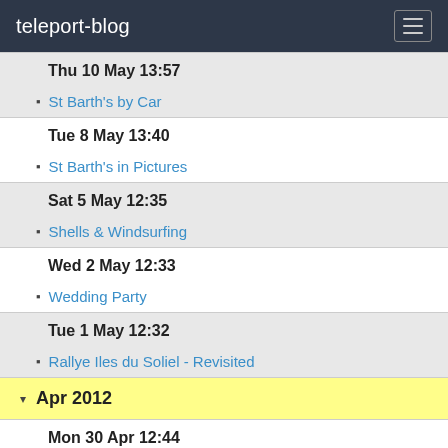teleport-blog
Thu 10 May 13:57
St Barth's by Car
Tue 8 May 13:40
St Barth's in Pictures
Sat 5 May 12:35
Shells & Windsurfing
Wed 2 May 12:33
Wedding Party
Tue 1 May 12:32
Rallye Iles du Soliel - Revisited
Apr 2012
Mon 30 Apr 12:44
African Seawing Dis-masted
Back in Caribbean
Wed 25 Apr 15:03